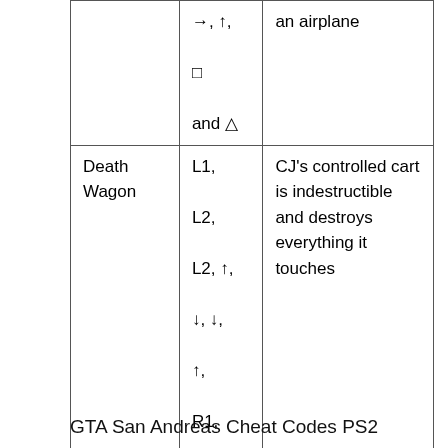| Cheat | Code | Effect |
| --- | --- | --- |
|  | →, ↑, □ and △ | an airplane |
| Death Wagon | L1, L2, L2, ↑, ↓, ↓, ↑, R1, R2 and R2 | CJ's controlled cart is indestructible and destroys everything it touches |
GTA San Andreas Cheat Codes PS2